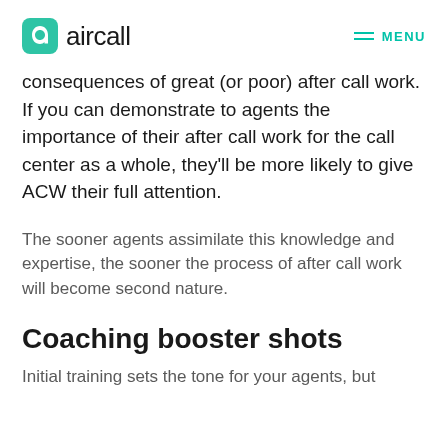aircall   MENU
consequences of great (or poor) after call work. If you can demonstrate to agents the importance of their after call work for the call center as a whole, they'll be more likely to give ACW their full attention.
The sooner agents assimilate this knowledge and expertise, the sooner the process of after call work will become second nature.
Coaching booster shots
Initial training sets the tone for your agents, but